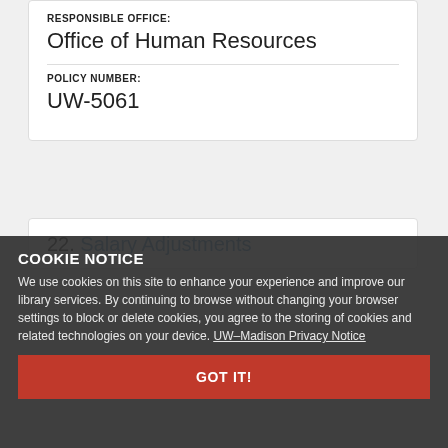RESPONSIBLE OFFICE:
Office of Human Resources
POLICY NUMBER:
UW-5061
22. Salary Adjustments
COOKIE NOTICE
We use cookies on this site to enhance your experience and improve our library services. By continuing to browse without changing your browser settings to block or delete cookies, you agree to the storing of cookies and related technologies on your device. UW–Madison Privacy Notice
GOT IT!